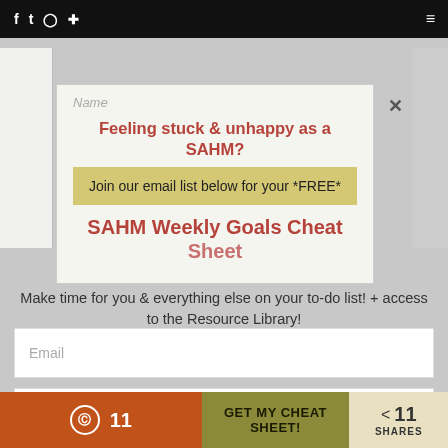f  t  (instagram)  (pinterest)  ≡
[Figure (screenshot): Modal popup overlay on a website. Contains heading 'Feeling stuck & unhappy as a SAHM?', a yellow/khaki box with 'Join our email list below for your *FREE*', and large red/pink text reading 'SAHM Weekly Goals Cheat Sheet'. Close X button top right. Background page shows 'RECENT POSTS' section header, email and name input fields, and a partially visible italic heading.]
Make time for you & everything else on your to-do list! + access to the Resource Library!
RECENT POSTS
Email
Name
11   GET MY CHEAT SHEET!   < 11 SHARES